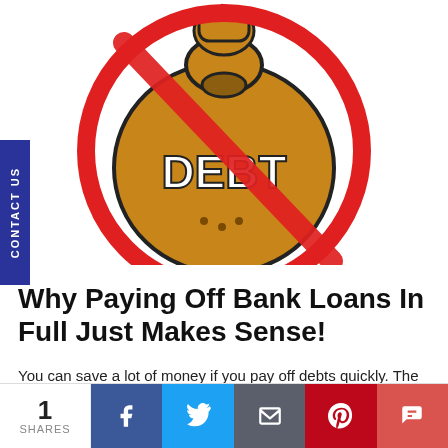[Figure (illustration): A cartoon money bag with 'DEBT' written on it, crossed out with a red prohibition circle symbol. A fist is visible at the top of the bag.]
Why Paying Off Bank Loans In Full Just Makes Sense!
You can save a lot of money if you pay off debts quickly. The best reason to pay off debt early is to save money and stop